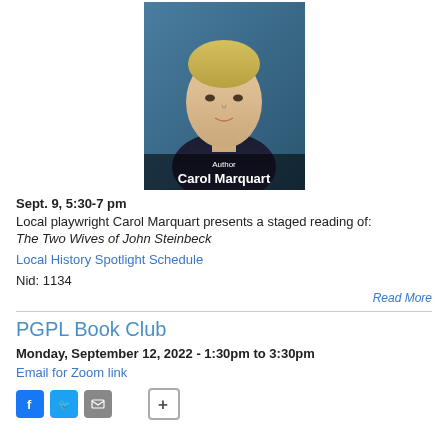[Figure (photo): Headshot of author Carol Marquart, a woman with short blonde hair, against a blue backdrop. Lower portion shows text overlay: 'Author Carol Marquart']
Sept. 9, 5:30-7 pm
Local playwright Carol Marquart presents a staged reading of:
The Two Wives of John Steinbeck
Local History Spotlight Schedule
Nid: 1134
Read More
PGPL Book Club
Monday, September 12, 2022 - 1:30pm to 3:30pm
Email for Zoom link